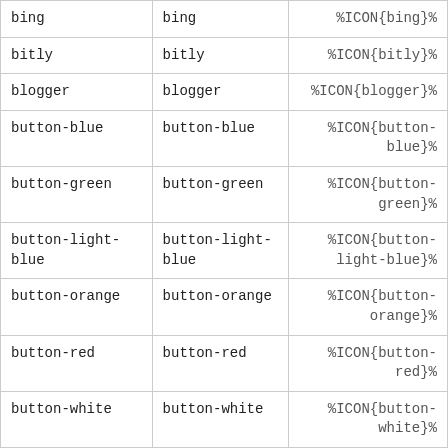| bing | bing | %ICON{bing}% |
| bitly | bitly | %ICON{bitly}% |
| blogger | blogger | %ICON{blogger}% |
| button-blue | button-blue | %ICON{button-blue}% |
| button-green | button-green | %ICON{button-green}% |
| button-light-blue | button-light-blue | %ICON{button-light-blue}% |
| button-orange | button-orange | %ICON{button-orange}% |
| button-red | button-red | %ICON{button-red}% |
| button-white | button-white | %ICON{button-white}% |
| button-yellow | button-yellow | %ICON{button-yellow}% |
| delicious | delicious | %ICON{delicious}% |